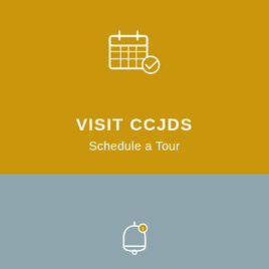[Figure (illustration): White calendar icon with a checkmark, on golden/yellow background]
VISIT CCJDS
Schedule a Tour
[Figure (illustration): Pink/magenta square button with white upward arrow]
[Figure (illustration): White bell notification icon on grey-blue background]